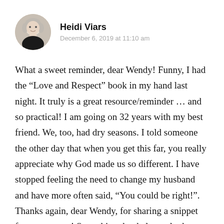Heidi Viars
December 6, 2019 at 11:10 am
What a sweet reminder, dear Wendy! Funny, I had the “Love and Respect” book in my hand last night. It truly is a great resource/reminder … and so practical! I am going on 32 years with my best friend. We, too, had dry seasons. I told someone the other day that when you get this far, you really appreciate why God made us so different. I have stopped feeling the need to change my husband and have more often said, “You could be right!”. Thanks again, dear Wendy, for sharing a snippet from your past! Something that helps us look forward to the future 😊